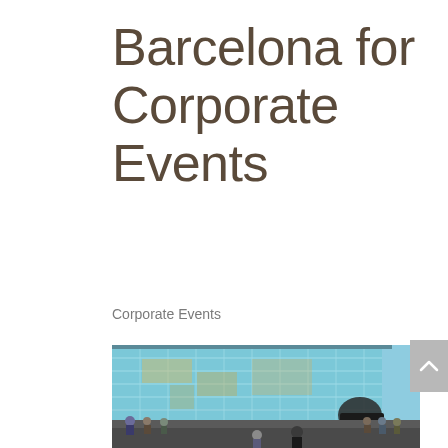Barcelona for Corporate Events
Corporate Events
[Figure (photo): Exterior of a modern glass-facade building in Barcelona with people walking and skateboarding in the foreground plaza area. The building reflects golden and warm tones in its glass panels. Several people are seated along a low wall.]